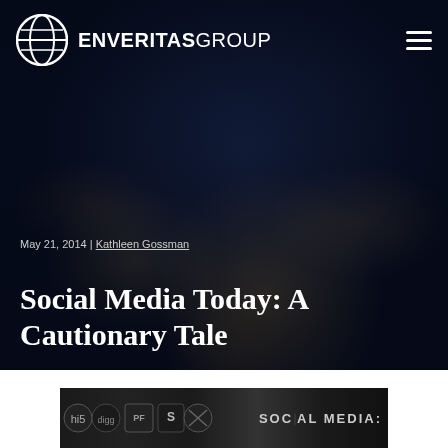[Figure (screenshot): EnVeritas Group website header with logo and hamburger menu on dark background]
ENVERITAS GROUP
May 21, 2014 | Kathleen Gossman
Social Media Today: A Cautionary Tale
[Figure (photo): Partial view of a social media graphic at the bottom of the page with text 'SOCIAL MEDIA:']